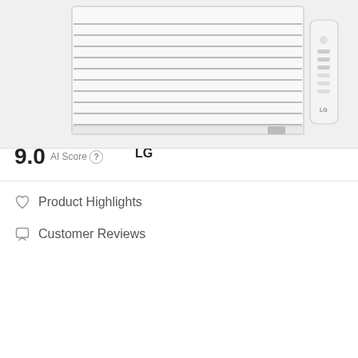[Figure (photo): LG 10,000 BTU window-mounted air conditioner unit shown from front with remote control beside it, white product on light gray background]
LG 10,000 BTU 115V Window-Mounted Air Conditioner with Remote Control, White
View on Amazon [button] [shopping bag icon button]
SCORE 9.0 AI Score ⓘ   Brand Prime LG
♡ Product Highlights
Customer Reviews